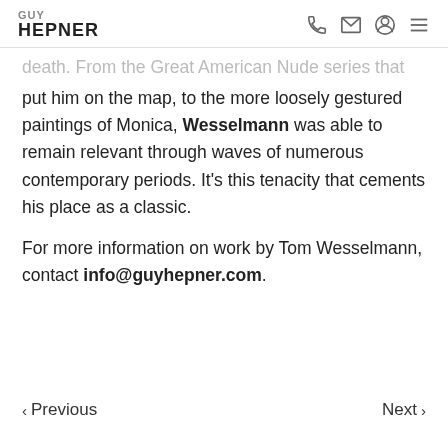GUY HEPNER
death. From the Great American Nude series that put him on the map, to the more loosely gestured paintings of Monica, Wesselmann was able to remain relevant through waves of numerous contemporary periods. It's this tenacity that cements his place as a classic.
For more information on work by Tom Wesselmann, contact info@guyhepner.com.
‹ Previous   Next ›